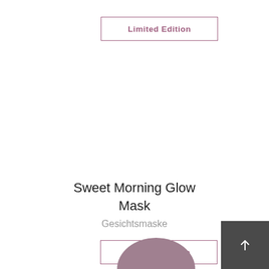Limited Edition
Sweet Morning Glow Mask
Gesichtsmaske
Limited Edition
[Figure (other): Back to top arrow button, dark grey rectangle with white upward arrow]
[Figure (other): Partial view of product packaging, pink/mauve rounded top lid visible at bottom of page]